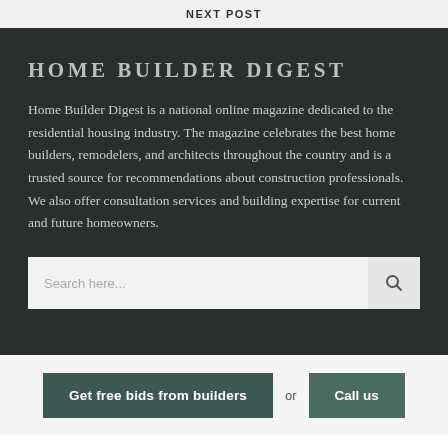NEXT POST
HOME BUILDER DIGEST
Home Builder Digest is a national online magazine dedicated to the residential housing industry. The magazine celebrates the best home builders, remodelers, and architects throughout the country and is a trusted source for recommendations about construction professionals. We also offer consultation services and building expertise for current and future homeowners.
Search here...
Get free bids from builders or Call us